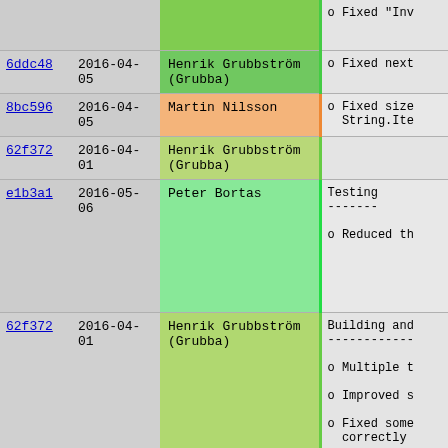| Hash | Date | Author | Notes |
| --- | --- | --- | --- |
|  |  |  | o Fixed "Inv |
| 6ddc48 | 2016-04-05 | Henrik Grubbström (Grubba) | o Fixed next |
| 8bc596 | 2016-04-05 | Martin Nilsson | o Fixed size
  String.Ite |
| 62f372 | 2016-04-01 | Henrik Grubbström (Grubba) |  |
| e1b3a1 | 2016-05-06 | Peter Bortas | Testing
-------

o Reduced th |
| 62f372 | 2016-04-01 | Henrik Grubbström (Grubba) | Building and
------------

o Multiple t

o Improved s

o Fixed some
  correctly


Changes sinc |